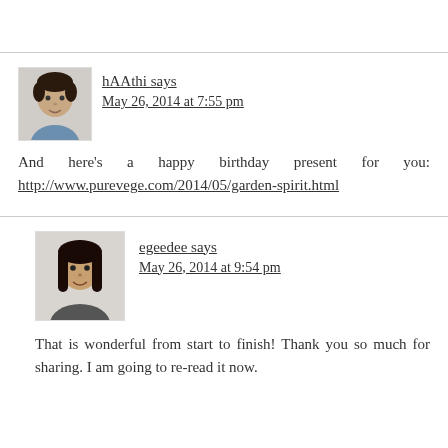hAAthi says
May 26, 2014 at 7:55 pm

And here's a happy birthday present for you: http://www.purevege.com/2014/05/garden-spirit.html
egeedee says
May 26, 2014 at 9:54 pm

That is wonderful from start to finish! Thank you so much for sharing. I am going to re-read it now.